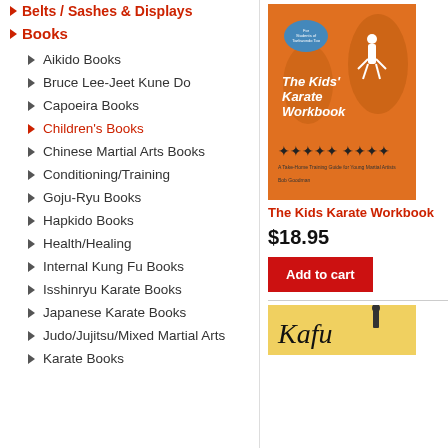Belts / Sashes & Displays
Books
Aikido Books
Bruce Lee-Jeet Kune Do
Capoeira Books
Children's Books
Chinese Martial Arts Books
Conditioning/Training
Goju-Ryu Books
Hapkido Books
Health/Healing
Internal Kung Fu Books
Isshinryu Karate Books
Japanese Karate Books
Judo/Jujitsu/Mixed Martial Arts
Karate Books
[Figure (photo): Book cover: The Kids' Karate Workbook on orange background with martial arts figures]
The Kids Karate Workbook
$18.95
Add to cart
[Figure (photo): Second book cover with yellow background (partially visible)]